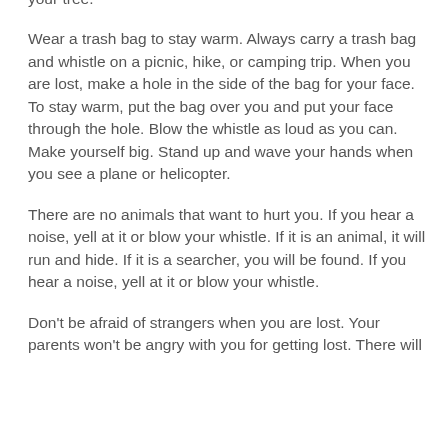your tree.
Wear a trash bag to stay warm. Always carry a trash bag and whistle on a picnic, hike, or camping trip. When you are lost, make a hole in the side of the bag for your face. To stay warm, put the bag over you and put your face through the hole. Blow the whistle as loud as you can. Make yourself big. Stand up and wave your hands when you see a plane or helicopter.
There are no animals that want to hurt you. If you hear a noise, yell at it or blow your whistle. If it is an animal, it will run and hide. If it is a searcher, you will be found. If you hear a noise, yell at it or blow your whistle.
Don't be afraid of strangers when you are lost. Your parents won't be angry with you for getting lost. There will